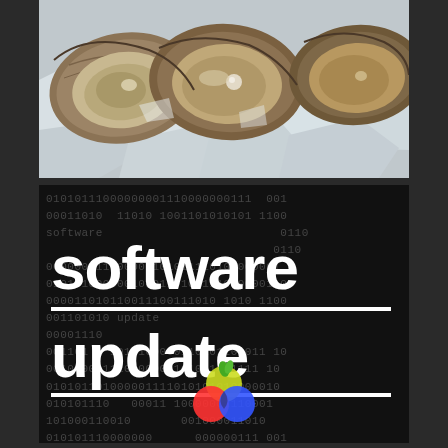[Figure (photo): Close-up photograph of fresh oysters on ice, showing open shells with oyster meat visible]
[Figure (infographic): Black background with scrolling binary code (0s and 1s) text pattern, overlaid with large white bold text reading 'software update' with horizontal white underlines, and a colorful circular logo at the bottom center]